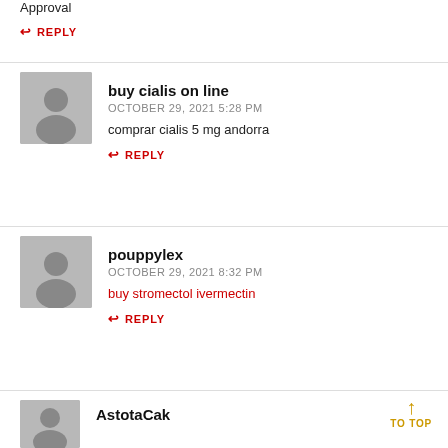Approval
↩ REPLY
buy cialis on line
OCTOBER 29, 2021 5:28 PM
comprar cialis 5 mg andorra
↩ REPLY
pouppylex
OCTOBER 29, 2021 8:32 PM
buy stromectol ivermectin
↩ REPLY
AstotaCak
↑ TO TOP